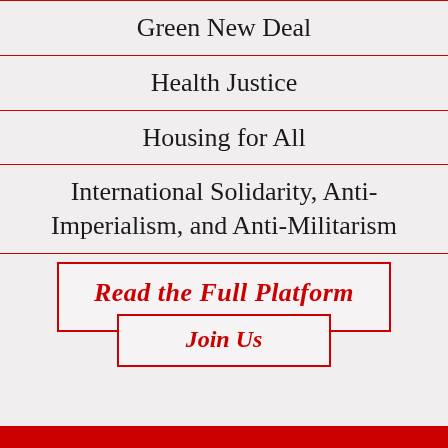Green New Deal
Health Justice
Housing for All
International Solidarity, Anti-Imperialism, and Anti-Militarism
Read the Full Platform
Join Us